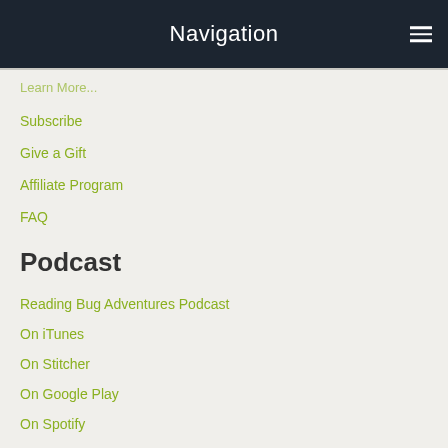Navigation
Subscribe
Give a Gift
Affiliate Program
FAQ
Podcast
Reading Bug Adventures Podcast
On iTunes
On Stitcher
On Google Play
On Spotify
On TuneIn
About Us
About Us/FAQ